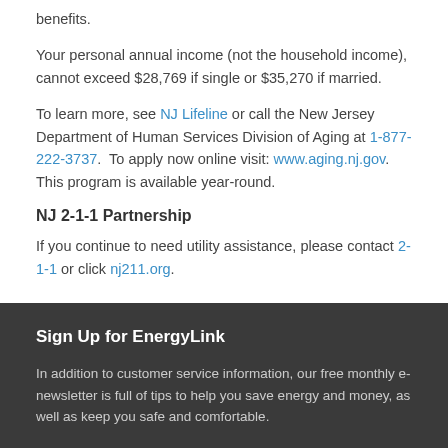benefits.
Your personal annual income (not the household income), cannot exceed $28,769 if single or $35,270 if married.
To learn more, see NJ Lifeline or call the New Jersey Department of Human Services Division of Aging at 1-877-222-3737. To apply now online visit: www.aging.nj.gov. This program is available year-round.
NJ 2-1-1 Partnership
If you continue to need utility assistance, please contact 2-1-1 or click nj211.org.
Sign Up for EnergyLink
In addition to customer service information, our free monthly e-newsletter is full of tips to help you save energy and money, as well as keep you safe and comfortable.